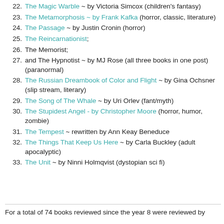22. The Magic Warble ~ by Victoria Simcox (children's fantasy)
23. The Metamorphosis ~ by Frank Kafka (horror, classic, literature)
24. The Passage ~ by Justin Cronin (horror)
25. The Reincarnationist;
26. The Memorist;
27. and The Hypnotist ~ by MJ Rose (all three books in one post) (paranormal)
28. The Russian Dreambook of Color and Flight ~ by Gina Ochsner (slip stream, literary)
29. The Song of The Whale ~ by Uri Orlev (fant/myth)
30. The Stupidest Angel - by Christopher Moore (horror, humor, zombie)
31. The Tempest ~ rewritten by Ann Keay Beneduce
32. The Things That Keep Us Here ~ by Carla Buckley (adult apocalyptic)
33. The Unit ~ by Ninni Holmqvist (dystopian sci fi)
For a total of 74 books reviewed since the year 8 were reviewed by